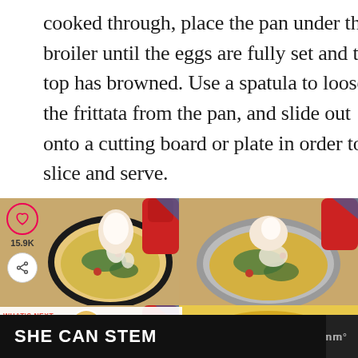cooked through, place the pan under the broiler until the eggs are fully set and the top has browned. Use a spatula to loosen the frittata from the pan, and slide out onto a cutting board or plate in order to slice and serve.
[Figure (photo): Top-down view of a frittata in a dark skillet being salted/topped, with a red oven mitt visible. Social sidebar with heart icon showing 15.9K likes and share button on the left.]
[Figure (photo): Top-down view of a frittata in a silver/stainless pan being topped, with a red oven mitt.]
[Figure (photo): Top-down view of a frittata in a dark skillet with toppings, red oven mitt. 'What's Next' banner with Tomato Cucumber... label and thumbnail overlay.]
[Figure (photo): Close-up top-down view of a completed frittata with vegetables.]
SHE CAN STEM